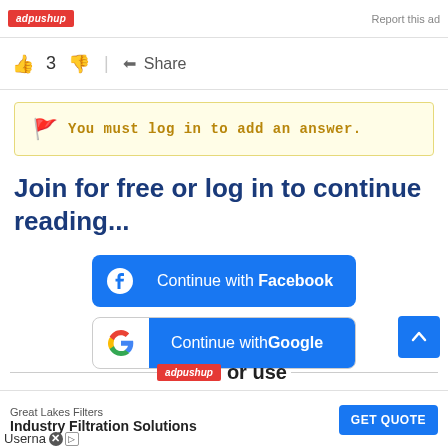adpushup | Report this ad
👍 3 👎 | Share
🚩 You must log in to add an answer.
Join for free or log in to continue reading...
[Figure (screenshot): Blue 'Continue with Facebook' button with Facebook logo icon]
[Figure (screenshot): Blue 'Continue with Google' button with Google G logo icon]
or use
Great Lakes Filters / Industry Filtration Solutions | GET QUOTE
Userna